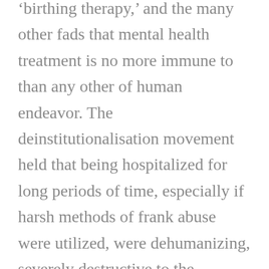birthing therapy,' and the many other fads that mental health treatment is no more immune to than any other of human endeavor. The deinstitutionalisation movement held that being hospitalized for long periods of time, especially if harsh methods of frank abuse were utilized, were dehumanizing, severely destructive to the personality and emotional functioning of chronic inpatients. I have no argument with this aspect of this ideological movement as I am old enough to have seen almost unspeakable abuse in hospitals I visited and helped to review often because of scandals and tragedies.
But it had its unforeseen consequences, accelerated by the economic downtown in this country beginning in the Midwest Rustbelt manufacturing